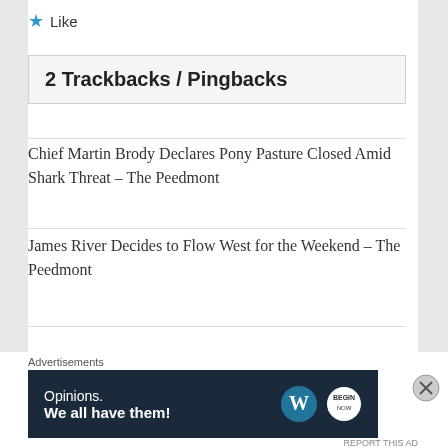★ Like
2 Trackbacks / Pingbacks
Chief Martin Brody Declares Pony Pasture Closed Amid Shark Threat – The Peedmont
James River Decides to Flow West for the Weekend – The Peedmont
Leave a Reply
Advertisements
[Figure (infographic): WordPress advertisement banner: 'Opinions. We all have them!' with WordPress and Begin logos on dark navy background]